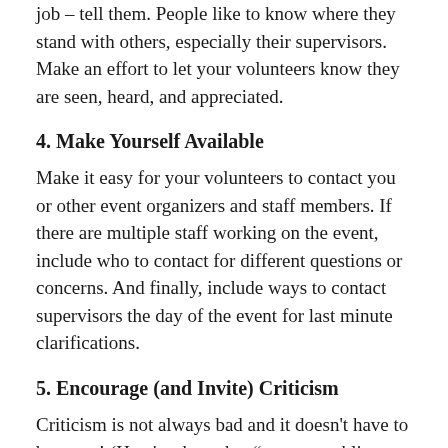job – tell them. People like to know where they stand with others, especially their supervisors. Make an effort to let your volunteers know they are seen, heard, and appreciated.
4. Make Yourself Available
Make it easy for your volunteers to contact you or other event organizers and staff members. If there are multiple staff working on the event, include who to contact for different questions or concerns. And finally, include ways to contact supervisors the day of the event for last minute clarifications.
5. Encourage (and Invite) Criticism
Criticism is not always bad and it doesn't have to be scary! (Here's where that “open to public scrutiny” comes into play.) Positive and negative feedback is just that – feedback. Give your volunteers a way to talk about their experience and provide criticism